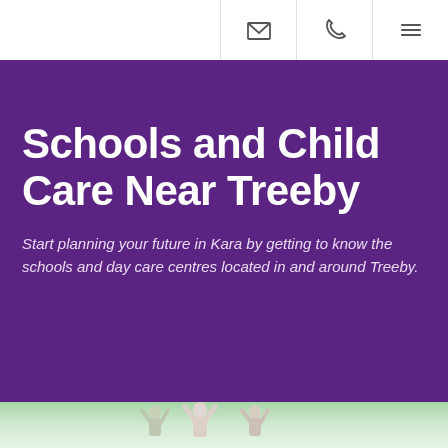Navigation bar with email, phone, and menu icons
Schools and Child Care Near Treeby
Start planning your future in Kara by getting to know the schools and day care centres located in and around Treeby.
[Figure (photo): Photo strip at bottom showing children with raised hands in a classroom setting]